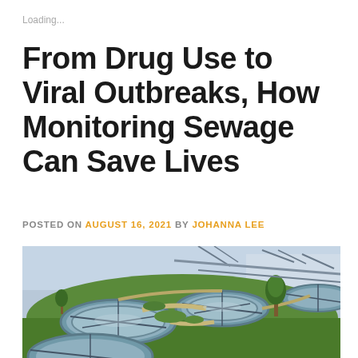Loading...
From Drug Use to Viral Outbreaks, How Monitoring Sewage Can Save Lives
POSTED ON AUGUST 16, 2021 BY JOHANNA LEE
[Figure (photo): Aerial view of a wastewater treatment plant with large circular settling tanks surrounded by green grass, metal bridges and walkways, and trees in the background.]